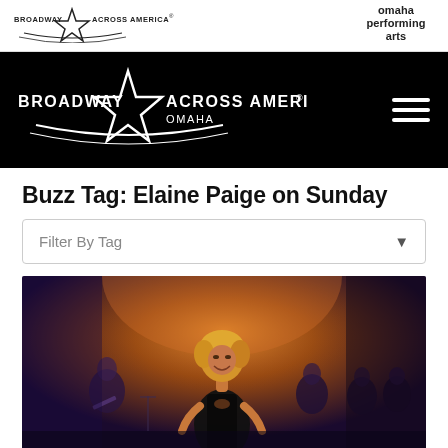[Figure (logo): Broadway Across America logo with star in top header bar]
[Figure (logo): Omaha Performing Arts logo in top header bar]
[Figure (logo): Broadway Across America Omaha logo in black navigation bar]
Buzz Tag: Elaine Paige on Sunday
Filter By Tag
[Figure (photo): A woman with blonde hair in a black sequined dress smiling on stage with orchestra musicians in the background under warm stage lighting]